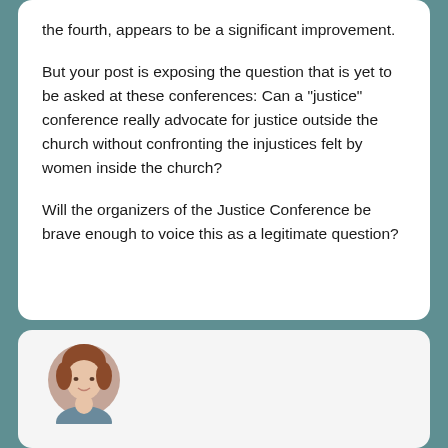the fourth, appears to be a significant improvement.
But your post is exposing the question that is yet to be asked at these conferences: Can a "justice" conference really advocate for justice outside the church without confronting the injustices felt by women inside the church?
Will the organizers of the Justice Conference be brave enough to voice this as a legitimate question?
[Figure (photo): Circular avatar photo of a woman with reddish-brown hair, partially visible at the bottom of the page in a white card.]